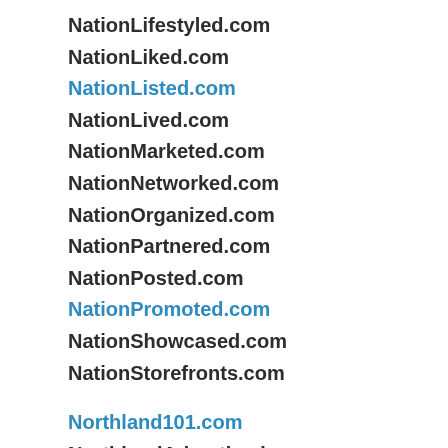NationLifestyled.com
NationLiked.com
NationListed.com
NationLived.com
NationMarketed.com
NationNetworked.com
NationOrganized.com
NationPartnered.com
NationPosted.com
NationPromoted.com
NationShowcased.com
NationStorefronts.com
Northland101.com
NorthlandAdvertised.com
NorthlandAnnounced.com
NorthlandBranded.com
NorthlandBrowsed.com
NorthlandBundled.com
NorthlandCategories.com